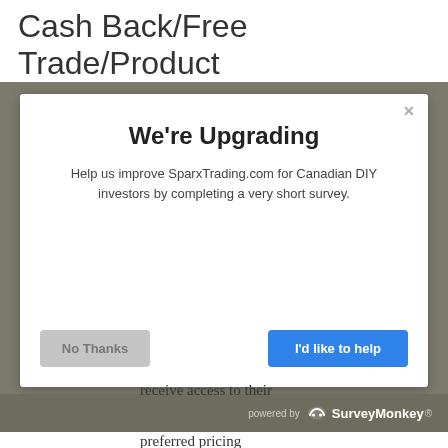Cash Back/Free Trade/Product Offer Promotions
[Figure (screenshot): A modal dialog popup from SurveyMonkey on the SparxTrading.com website. The modal has a dark grey overlay background, white dialog box with an X close button, title 'We're Upgrading', body text 'Help us improve SparxTrading.com for Canadian DIY investors by completing a very short survey.', a grey 'No Thanks' button on the left, and a blue 'I'd like to help' button on the right. The bottom bar shows 'powered by SurveyMonkey' branding.]
receive access to their preferred pricing package.